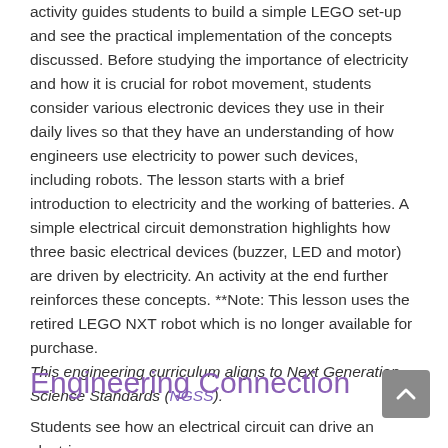activity guides students to build a simple LEGO set-up and see the practical implementation of the concepts discussed. Before studying the importance of electricity and how it is crucial for robot movement, students consider various electronic devices they use in their daily lives so that they have an understanding of how engineers use electricity to power such devices, including robots. The lesson starts with a brief introduction to electricity and the working of batteries. A simple electrical circuit demonstration highlights how three basic electrical devices (buzzer, LED and motor) are driven by electricity. An activity at the end further reinforces these concepts. **Note: This lesson uses the retired LEGO NXT robot which is no longer available for purchase. This engineering curriculum aligns to Next Generation Science Standards (NGSS).
Engineering Connection
Students see how an electrical circuit can drive an electric